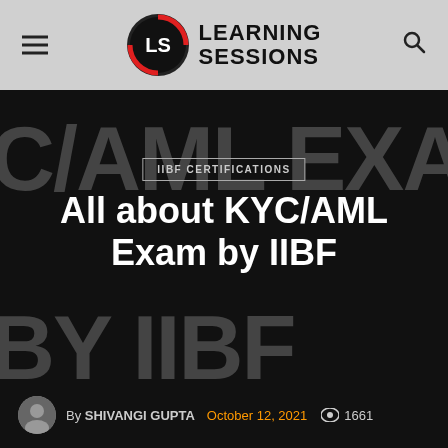Learning Sessions — IIBF Certifications blog header
IIBF CERTIFICATIONS
All about KYC/AML Exam by IIBF
By SHIVANGI GUPTA  October 12, 2021  1661